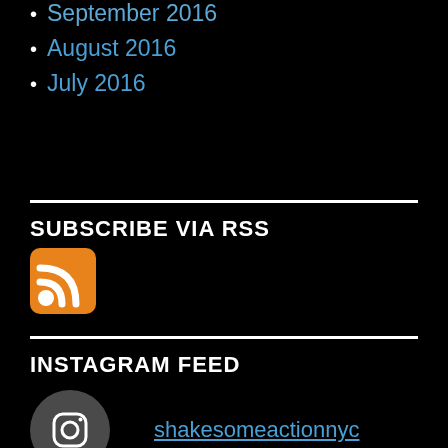September 2016
August 2016
July 2016
SUBSCRIBE VIA RSS
[Figure (logo): RSS feed icon — orange rounded square with white RSS signal waves]
INSTAGRAM FEED
[Figure (logo): Instagram icon in dark grey circle]
shakesomeactionnyc